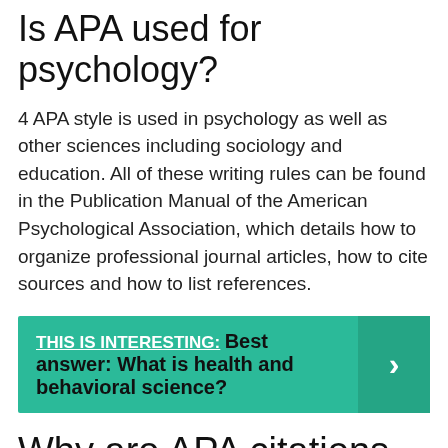Is APA used for psychology?
4 APA style is used in psychology as well as other sciences including sociology and education. All of these writing rules can be found in the Publication Manual of the American Psychological Association, which details how to organize professional journal articles, how to cite sources and how to list references.
THIS IS INTERESTING: Best answer: What is health and behavioral science?
Why are APA citations used in psychological articles?